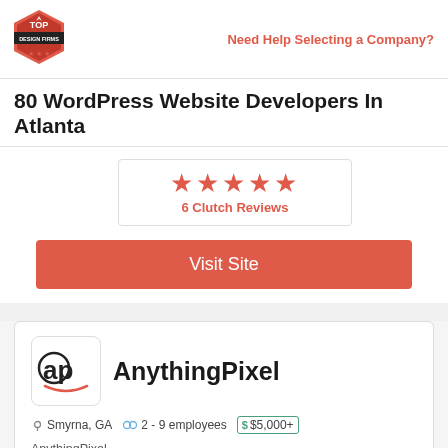[Figure (logo): Top Design Firms hexagonal badge logo in red]
Need Help Selecting a Company?
80 WordPress Website Developers In Atlanta
[Figure (other): 5 red stars rating]
6 Clutch Reviews
Visit Site
[Figure (logo): AnythingPixel company logo - ap letters with smile]
AnythingPixel
Smyrna, GA   2 - 9 employees   $5,000+
AnythingPixel...